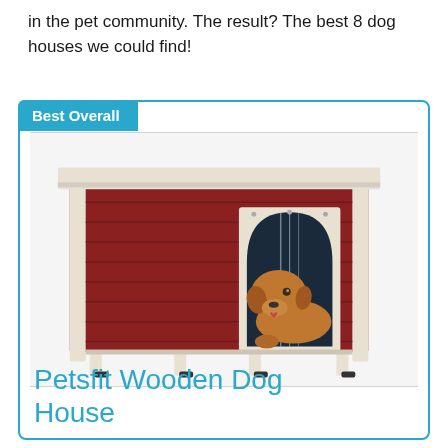in the pet community. The result? The best 8 dog houses we could find!
Best Overall
[Figure (photo): A red wooden dog house with white trim and legs, featuring an arched entrance with a clear plastic flap, with a large golden/brown dog resting inside.]
Petsfit Wooden Dog House